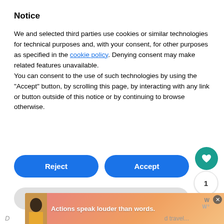Notice
We and selected third parties use cookies or similar technologies for technical purposes and, with your consent, for other purposes as specified in the cookie policy. Denying consent may make related features unavailable.
You can consent to the use of such technologies by using the "Accept" button, by scrolling this page, by interacting with any link or button outside of this notice or by continuing to browse otherwise.
Reject
Accept
Learn more and customize
[Figure (screenshot): Heart/favorite icon button in teal circle]
1
[Figure (screenshot): Share icon button in white circle]
WHAT'S NEXT → 10 Tips for Safe Travel...
[Figure (photo): Advertisement banner: Actions speak louder than words.]
D
d travel...